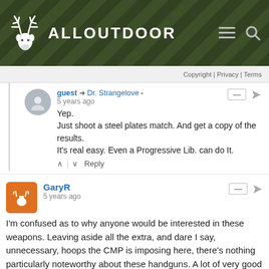ALLOUTDOOR
Copyright | Privacy | Terms
guest → Dr. Strangelove
5 years ago

Yep.
Just shoot a steel plates match. And get a copy of the results.
It's real easy. Even a Progressive Lib. can do It.
GaryR
5 years ago

I'm confused as to why anyone would be interested in these weapons. Leaving aside all the extra, and dare I say, unnecessary, hoops the CMP is imposing here, there's nothing particularly noteworthy about these handguns. A lot of very good gun manufacturers (e.g. Kimber, Wilson Combat, Nighthawk, etc., etc.) have made some very high quality improvements to the 1911 so that they handle better and fire more accurately. I'm also willing to bet the prices the CMP will